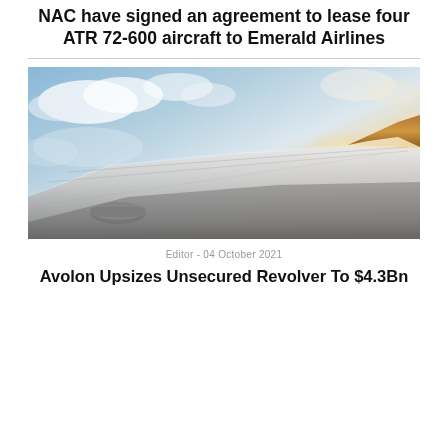NAC have signed an agreement to lease four ATR 72-600 aircraft to Emerald Airlines
[Figure (photo): Airplane wing viewed from window seat against a blue sky with clouds and warm sunlit horizon]
Editor - 04 October 2021
Avolon Upsizes Unsecured Revolver To $4.3Bn